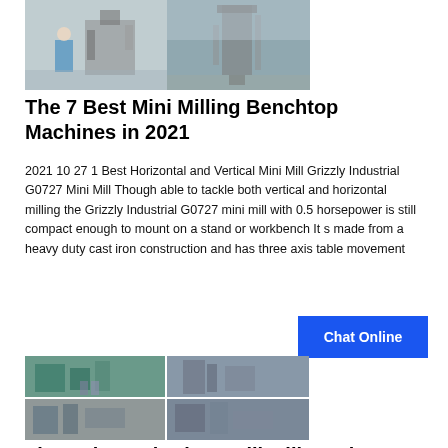[Figure (photo): Two side-by-side photos of milling machines/industrial equipment]
The 7 Best Mini Milling Benchtop Machines in 2021
2021 10 27 1 Best Horizontal and Vertical Mini Mill Grizzly Industrial G0727 Mini Mill Though able to tackle both vertical and horizontal milling the Grizzly Industrial G0727 mini mill with 0.5 horsepower is still compact enough to mount on a stand or workbench It s made from a heavy duty cast iron construction and has three axis table movement
[Figure (photo): Four-panel grid of photos showing industrial mill equipment in factory settings]
The Ugly Truth About Pill Mills In the United States